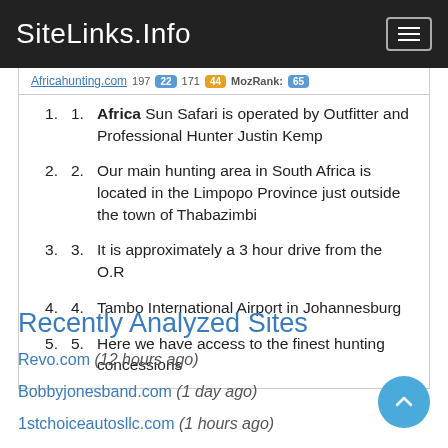SiteLinks.Info
Africa Sun Safari is operated by Outfitter and Professional Hunter Justin Kemp
Our main hunting area in South Africa is located in the Limpopo Province just outside the town of Thabazimbi
It is approximately a 3 hour drive from the O.R
Tambo International Airport in Johannesburg
Here we have access to the finest hunting concessions
Recently Analyzed Sites
Revo.com (12 hours ago)
Bobbyjonesband.com (1 day ago)
1stchoiceautosllc.com (1 hours ago)
Gatewaylogisticscenterglc.com (8 min ago)